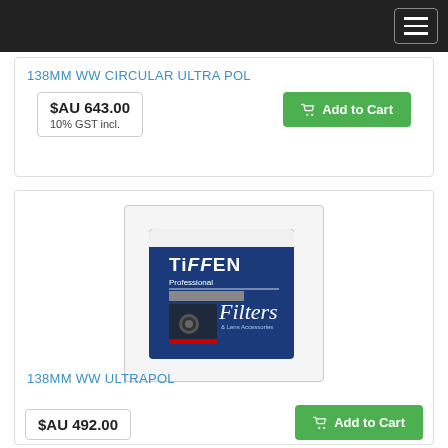Navigation menu
138MM WW CIRCULAR ULTRA POL
$AU 643.00
10% GST incl.
Add to Cart
[Figure (photo): Tiffen Professional Filters & Lens Accessories product box, blue packaging]
138MM WW ULTRAPOL
$AU 492.00
Add to Cart